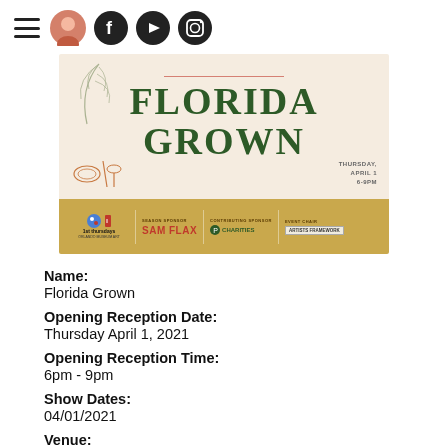Navigation bar with hamburger menu, avatar, Facebook, YouTube, Instagram icons
[Figure (infographic): Florida Grown event banner. Top cream section with decorative leaf, title 'FLORIDA GROWN' in dark green serif font, date 'Thursday, April 1, 6-9pm' bottom right. Bottom gold/tan section with '1st Thursdays Orlando Museum Art' logo, Season Sponsor: SAM FLAX, Contributing Sponsor: Charities logo, Event Chair logo.]
Name:
Florida Grown
Opening Reception Date:
Thursday April 1, 2021
Opening Reception Time:
6pm - 9pm
Show Dates:
04/01/2021
Venue: